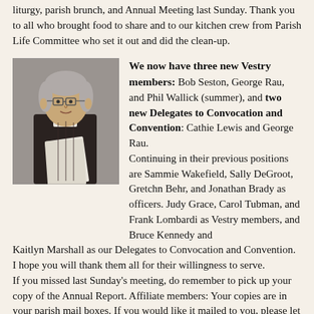liturgy, parish brunch, and Annual Meeting last Sunday. Thank you to all who brought food to share and to our kitchen crew from Parish Life Committee who set it out and did the clean-up.
[Figure (photo): Black and white photo of an elderly woman with short gray hair and glasses, wearing a dark vest over a light top, holding papers, standing indoors.]
We now have three new Vestry members: Bob Seston, George Rau, and Phil Wallick (summer), and two new Delegates to Convocation and Convention: Cathie Lewis and George Rau. Continuing in their previous positions are Sammie Wakefield, Sally DeGroot, Gretchn Behr, and Jonathan Brady as officers. Judy Grace, Carol Tubman, and Frank Lombardi as Vestry members, and Bruce Kennedy and Kaitlyn Marshall as our Delegates to Convocation and Convention. I hope you will thank them all for their willingness to serve. If you missed last Sunday's meeting, do remember to pick up your copy of the Annual Report. Affiliate members: Your copies are in your parish mail boxes. If you would like it mailed to you, please let us know. It is also available on the web site.
The snow storm caused cancellations of various parish